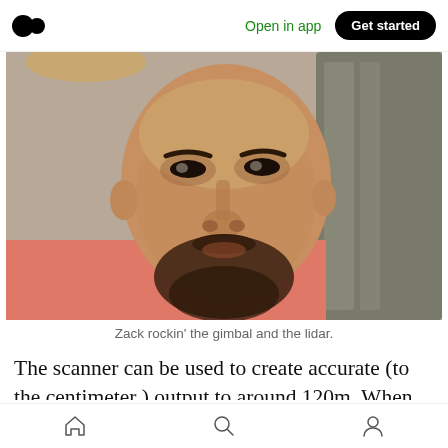Medium app header — Open in app | Get started
[Figure (photo): Close-up photo of a man named Zack with a beard and mustache, wearing a pink shirt and carrying a backpack with a gimbal and lidar device.]
Zack rockin' the gimbal and the lidar.
The scanner can be used to create accurate (to the centimeter ) output to around 120m. When combining all the scan frames together during the SLAM process, we leave out data beyond
Bottom navigation bar — Home, Search, Profile